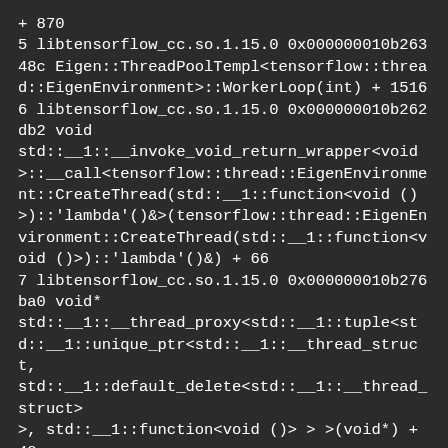+ 870
5 libtensorflow_cc.so.1.15.0 0x000000010b26348c Eigen::ThreadPoolTempl<tensorflow::thread::EigenEnvironment>::WorkerLoop(int) + 1516
6 libtensorflow_cc.so.1.15.0 0x000000010b262db2 void std::__1::__invoke_void_return_wrapper<void>::__call<tensorflow::thread::EigenEnvironment::CreateThread(std::__1::function<void ()>)::'lambda'()&>(tensorflow::thread::EigenEnvironment::CreateThread(std::__1::function<void ()>)::'lambda'()&) + 66
7 libtensorflow_cc.so.1.15.0 0x000000010b276ba0 void* std::__1::__thread_proxy<std::__1::tuple<std::__1::unique_ptr<std::__1::__thread_struct, std::__1::default_delete<std::__1::__thread_struct>>, std::__1::function<void ()> > >(void*) + 48
8 libsystem_pthread.dylib 0x00007fff694c59b4 pthread_start + 224